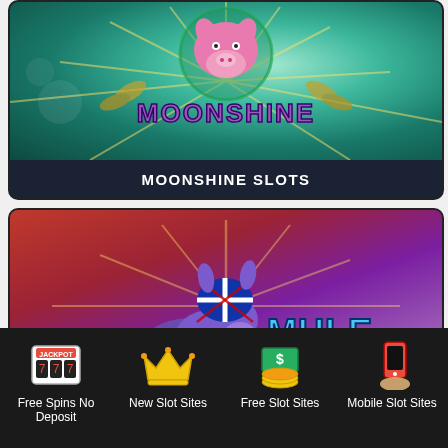[Figure (screenshot): Moonshine Slots game card with teal background, pink pig mascot, sunburst effect, and 'MOONSHINE' logo text in purple]
MOONSHINE SLOTS
[Figure (screenshot): Mule Britannia slot game card with red-to-purple gradient background, cartoon mule with Union Jack shield helmet, and 'MULE BRITANNIA' logo text]
[Figure (infographic): Footer navigation bar with four icons: Free Spins No Deposit (slot machine), New Slot Sites (crown), Free Slot Sites (money bag with coins), Mobile Slot Sites (phone)]